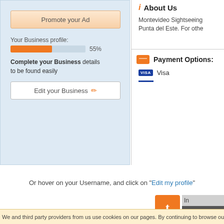[Figure (screenshot): Left panel showing 'Promote your Ad' button, business profile progress bar at 55%, and 'Edit your Business' button on a light blue background]
Your Business profile:
55%
Complete your Business details to be found easily
[Figure (screenshot): Right panel showing 'About Us' section with italic i icon and text about Montevideo Sightseeing and Punta del Este, plus Payment Options section showing Visa logo]
About Us
Montevideo Sightseeing Punta del Este. For othe
Payment Options:
Visa
Or hover on your Username, and click on "Edit my profile"
[Figure (screenshot): Partial screenshot showing orange 't' tab icon, gray bar, and dark dropdown menu with person, grid, envelope, heart, and plus icons]
We and third party providers from us use cookies on our pages. By continuing to browse our